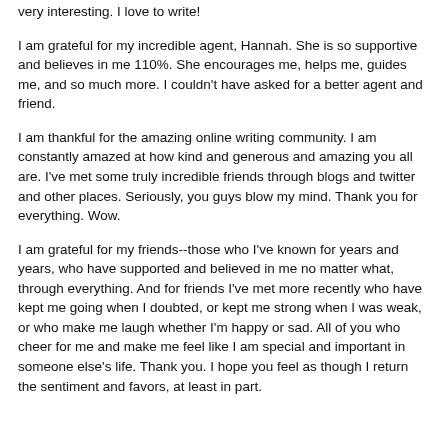very interesting. I love to write!
I am grateful for my incredible agent, Hannah. She is so supportive and believes in me 110%. She encourages me, helps me, guides me, and so much more. I couldn't have asked for a better agent and friend.
I am thankful for the amazing online writing community. I am constantly amazed at how kind and generous and amazing you all are. I've met some truly incredible friends through blogs and twitter and other places. Seriously, you guys blow my mind. Thank you for everything. Wow.
I am grateful for my friends--those who I've known for years and years, who have supported and believed in me no matter what, through everything. And for friends I've met more recently who have kept me going when I doubted, or kept me strong when I was weak, or who make me laugh whether I'm happy or sad. All of you who cheer for me and make me feel like I am special and important in someone else's life. Thank you. I hope you feel as though I return the sentiment and favors, at least in part.